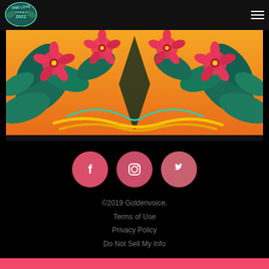[Figure (logo): One Love California Food festival logo in teal/green psychedelic lettering]
[Figure (illustration): Colorful tropical illustration with hibiscus flowers and decorative leaves on orange gradient background, mirrored symmetrical design]
[Figure (infographic): Three social media icon buttons: Facebook (f), Instagram (camera), Twitter (bird) — red/pink circle buttons]
©2019 Goldenvoice.
Terms of Use
Privacy Policy
Do Not Sell My Info